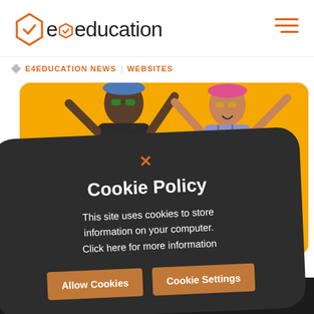[Figure (logo): e4education logo with orange hexagon icon and text]
E4EDUCATION NEWS | WEBSITES
[Figure (photo): Two young people jumping excitedly against a yellow background, with a dark cookie policy overlay dialog]
Cookie Policy
This site uses cookies to store information on your computer. Click here for more information
Allow Cookies   Cookie Settings
! our top tips for a successful